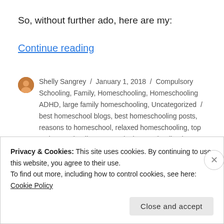So, without further ado, here are my:
Continue reading
Shelly Sangrey / January 1, 2018 / Compulsory Schooling, Family, Homeschooling, Homeschooling ADHD, large family homeschooling, Uncategorized / best homeschool blogs, best homeschooling posts, reasons to homeschool, relaxed homeschooling, top 10 homeschooling posts, why homeschooling is better than school, Why should I homeschool / 1 Comment
Privacy & Cookies: This site uses cookies. By continuing to use this website, you agree to their use.
To find out more, including how to control cookies, see here: Cookie Policy
Close and accept